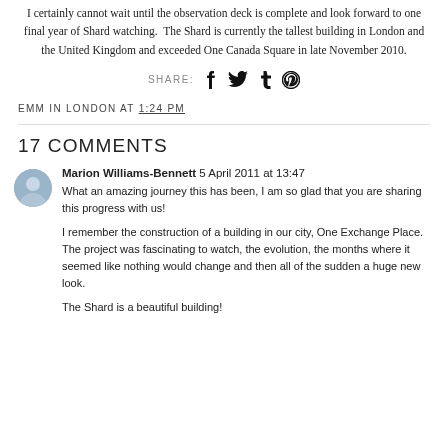I certainly cannot wait until the observation deck is complete and look forward to one final year of Shard watching. The Shard is currently the tallest building in London and the United Kingdom and exceeded One Canada Square in late November 2010.
SHARE: [social icons: Facebook, Twitter, Tumblr, Pinterest]
EMM IN LONDON AT 1:24 PM
17 COMMENTS
Marion Williams-Bennett 5 April 2011 at 13:47
What an amazing journey this has been, I am so glad that you are sharing this progress with us!

I remember the construction of a building in our city, One Exchange Place. The project was fascinating to watch, the evolution, the months where it seemed like nothing would change and then all of the sudden a huge new look.

The Shard is a beautiful building!